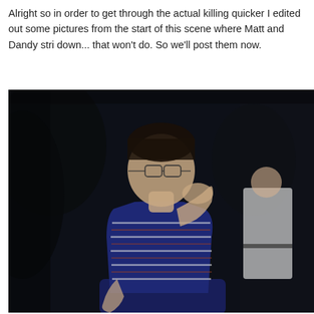Alright so in order to get through the actual killing quicker I edited out some pictures from the start of this scene where Matt and Dandy stri down... that won't do. So we'll post them now.
[Figure (photo): A dark outdoor scene showing a man in a navy blue and white striped polo shirt with glasses, appearing to grab his own neck or collar. Another person in white clothing is visible to the right in the background.]